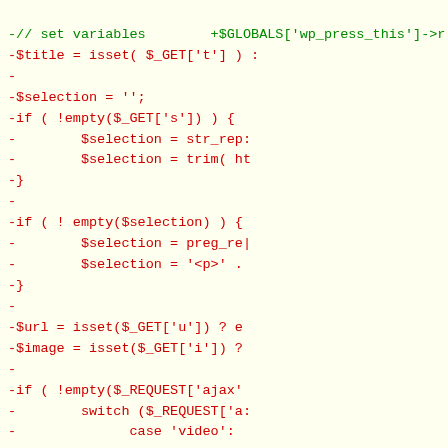[Figure (screenshot): Code diff screenshot showing PHP code with removed lines (red) and a green comment line. Lines show variable assignments and conditional logic for WordPress press-this functionality.]